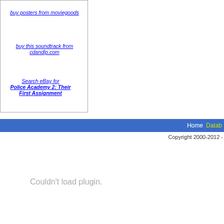buy posters from moviegoods
buy this soundtrack from cdandlp.com
Search eBay for Police Academy 2: Their First Assignment
Home  Datab  Copyright 2000-2012 -
Couldn't load plugin.